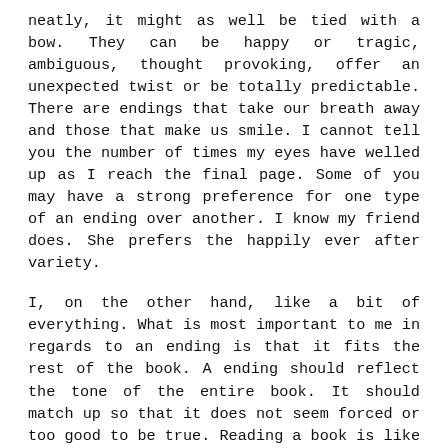neatly, it might as well be tied with a bow. They can be happy or tragic, ambiguous, thought provoking, offer an unexpected twist or be totally predictable. There are endings that take our breath away and those that make us smile. I cannot tell you the number of times my eyes have welled up as I reach the final page. Some of you may have a strong preference for one type of an ending over another. I know my friend does. She prefers the happily ever after variety.
I, on the other hand, like a bit of everything. What is most important to me in regards to an ending is that it fits the rest of the book. A ending should reflect the tone of the entire book. It should match up so that it does not seem forced or too good to be true. Reading a book is like going on a journey. I begin at one spot, experiencing the adventure along the way. When reaching the end, I hope to have gained something, including a bigger appreciation for the entire experience of reading that book.
The topic of endings arose because I was trying to sort out what it was exactly I did not care for about the ending of a book I read recently. I actually enjoyed the book quite a bit.